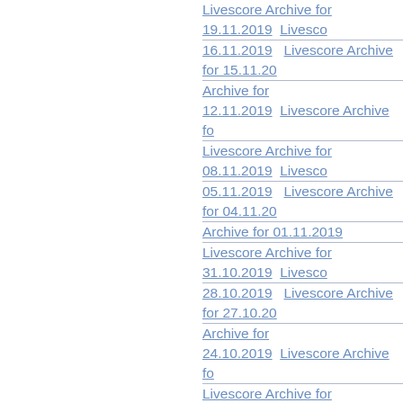Livescore Archive for 19.11.2019  Livescore Archive for 16.11.2019  Livescore Archive for 15.11.2019  Livescore Archive for 12.11.2019  Livescore Archive for ...  Livescore Archive for 08.11.2019  Livescore Archive for 05.11.2019  Livescore Archive for 04.11.2019  Livescore Archive for 01.11.2019  Livescore Archive for 31.10.2019  Livescore Archive for 28.10.2019  Livescore Archive for 27.10.2019  Livescore Archive for 24.10.2019  Livescore Archive for ...  Livescore Archive for 20.10.2019  Livescore Archive for 17.10.2019  Livescore Archive for 16.10.2019  Livescore Archive for 13.10.2019  Livescore Archive for ...  Livescore Archive for 09.10.2019  Livescore Archive for 06.10.2019  Livescore Archive for 05.10.2019  Livescore Archive for 02.10.2019  Livescore Archive for ...  Livescore Archive for 30.09.2019  Livescore Archive for 27.09.2019  Livescore Archive for 26.09.2019  Livescore Archive for 23.09.2019  Livescore Archive for ...  Livescore Archive for 19.09.2019  Livescore Archive for 16.09.2019  Livescore Archive for 15.09.2019  Livescore Archive for 12.09.2019  Livescore Archive for ...  Livescore Archive for 08.09.2019  Livescore Archive for 05.09.2019  Livescore Archive for 04.09.2019  Livescore Archive for 01.09.2019  Livescore Archive for 31.08.2019  Livescore Archive for ...